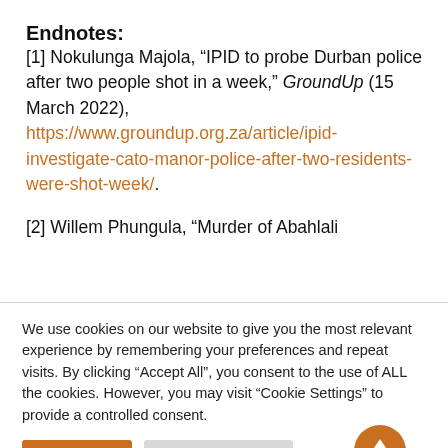Endnotes:
[1] Nokulunga Majola, “IPID to probe Durban police after two people shot in a week,” GroundUp (15 March 2022), https://www.groundup.org.za/article/ipid-investigate-cato-manor-police-after-two-residents-were-shot-week/.
[2] Willem Phungula, “Murder of Abahlali
We use cookies on our website to give you the most relevant experience by remembering your preferences and repeat visits. By clicking “Accept All”, you consent to the use of ALL the cookies. However, you may visit “Cookie Settings” to provide a controlled consent.